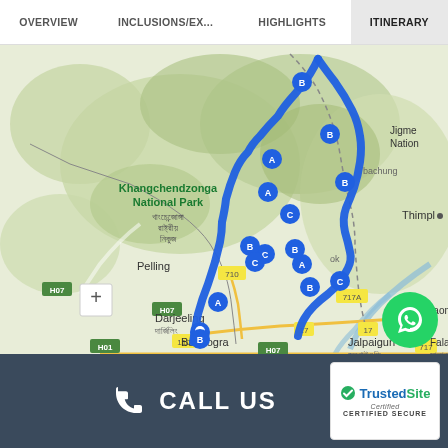OVERVIEW | INCLUSIONS/EX... | HIGHLIGHTS | ITINERARY
[Figure (map): Route map showing travel itinerary through Sikkim region including Khangchendzonga National Park, Darjeeling, Pelling, Gangtok area, and Bagdogra. Blue route line with labeled stops (A, B, C markers) connecting Bagdogra in the south through Darjeeling, Gangtok, up to northern Sikkim, with surrounding locations including Jalpaiguri, Falakata, Alipurduar, Jaigaon, Thimphu, and Jigme National Park visible.]
CALL US
[Figure (logo): TrustedSite Certified Secure badge with checkmark logo]